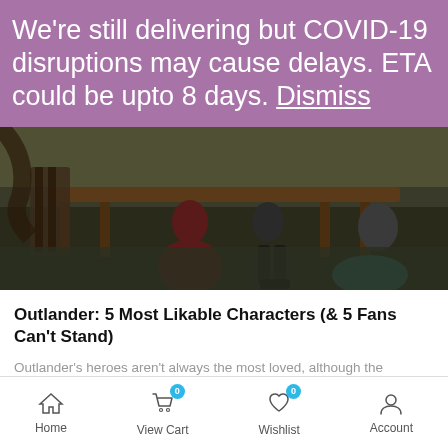We're still delivering but COVID-19 disruptions may cause delays. ETA could be upto 8 days. Dismiss
[Figure (photo): People in period costume seated at an outdoor wooden table, shot from a low angle showing their clothing and boots.]
Outlander: 5 Most Likable Characters (& 5 Fans Can't Stand)
Outlander's heroes aren't always the most loved, although the
Home   View Cart 0   Wishlist 0   Account